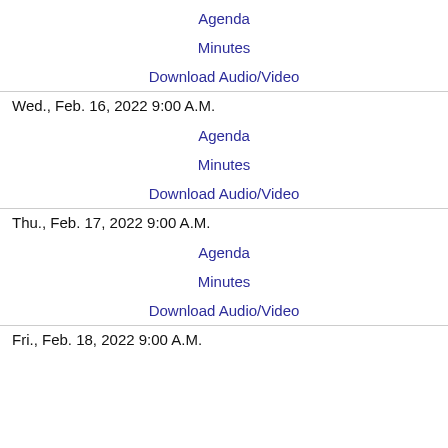Agenda
Minutes
Download Audio/Video
Wed., Feb. 16, 2022 9:00 A.M.
Agenda
Minutes
Download Audio/Video
Thu., Feb. 17, 2022 9:00 A.M.
Agenda
Minutes
Download Audio/Video
Fri., Feb. 18, 2022 9:00 A.M.